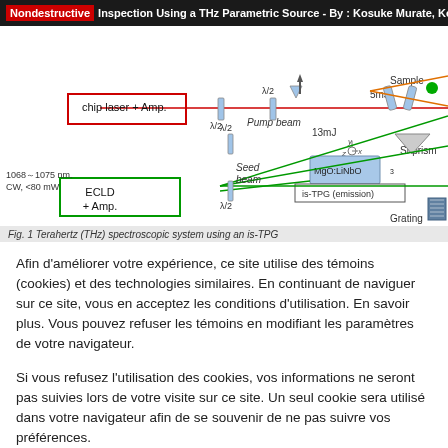Nondestructive Inspection Using a THz Parametric Source - By : Kosuke Murate, Kodo Kav
[Figure (schematic): Terahertz (THz) spectroscopic system diagram using an is-TPG (injection-seeded THz parametric generator). Components include: chip laser + Amp. (red box), ECLD + Amp. (green box), lambda/2 waveplates, Pump beam (13mJ), seed beam, Si-prism, MgO:LiNbO3 crystal, is-TPG (emission) label, Grating, Sample, and green/red beam paths.]
Fig. 1 Terahertz (THz) spectroscopic system using an is-TPG
Afin d’améliorer votre expérience, ce site utilise des témoins (cookies) et des technologies similaires. En continuant de naviguer sur ce site, vous en acceptez les conditions d’utilisation. En savoir plus. Vous pouvez refuser les témoins en modifiant les paramètres de votre navigateur.
Si vous refusez l’utilisation des cookies, vos informations ne seront pas suivies lors de votre visite sur ce site. Un seul cookie sera utilisé dans votre navigateur afin de se souvenir de ne pas suivre vos préférences.